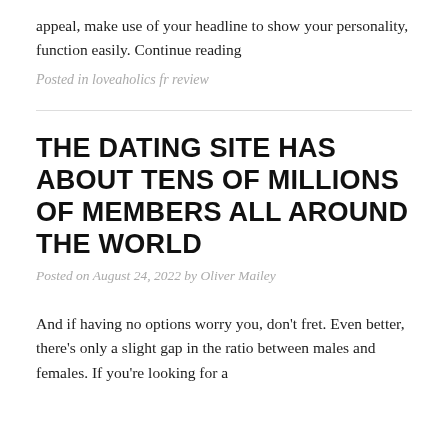appeal, make use of your headline to show your personality, function easily. Continue reading
Posted in loveaholics fr review
THE DATING SITE HAS ABOUT TENS OF MILLIONS OF MEMBERS ALL AROUND THE WORLD
Posted on August 24, 2022 by Oliver Mailey
And if having no options worry you, don't fret. Even better, there's only a slight gap in the ratio between males and females. If you're looking for a